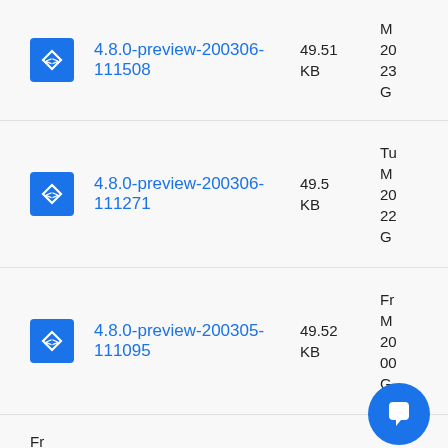4.8.0-preview-200306-111508 49.51 KB M 20 23 G
4.8.0-preview-200306-111271 49.5 KB Tu M 20 22 G
4.8.0-preview-200305-111095 49.52 KB Fr M 20 00 G
Fr M